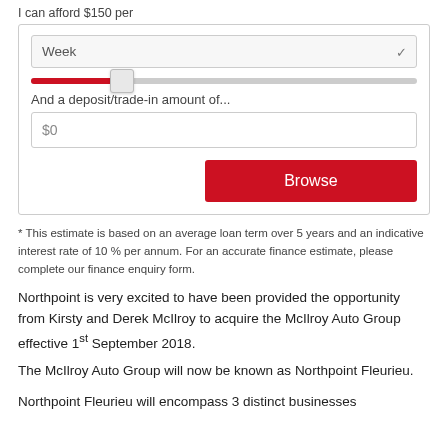I can afford $150 per
[Figure (screenshot): A form UI with a 'Week' dropdown selector, a red/grey slider control, a deposit/trade-in amount text field showing $0, and a red 'Browse' button.]
* This estimate is based on an average loan term over 5 years and an indicative interest rate of 10 % per annum. For an accurate finance estimate, please complete our finance enquiry form.
Northpoint is very excited to have been provided the opportunity from Kirsty and Derek McIlroy to acquire the McIlroy Auto Group effective 1st September 2018.
The McIlroy Auto Group will now be known as Northpoint Fleurieu.
Northpoint Fleurieu will encompass 3 distinct businesses